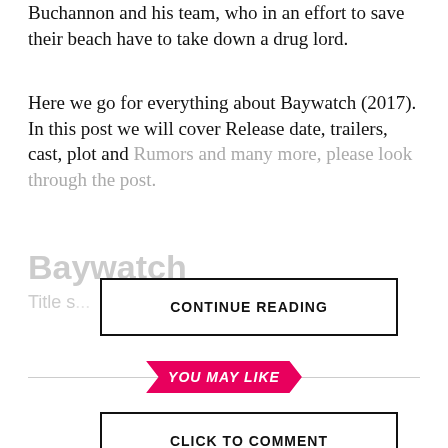Buchannon and his team, who in an effort to save their beach have to take down a drug lord.
Here we go for everything about Baywatch (2017). In this post we will cover Release date, trailers, cast, plot and Rumors and many more, please look through the post.
Baywatch
Title s...
CONTINUE READING
YOU MAY LIKE
CLICK TO COMMENT
ENTERTAINMENT